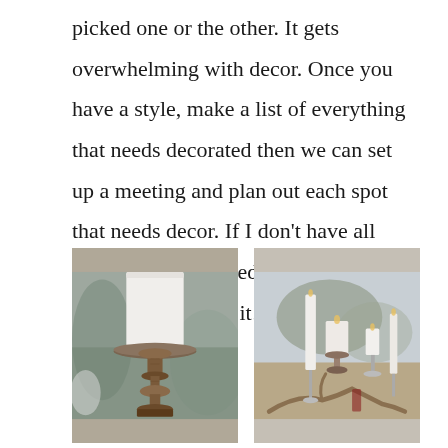picked one or the other. It gets overwhelming with decor. Once you have a style, make a list of everything that needs decorated then we can set up a meeting and plan out each spot that needs decor. If I don't have all items that are needed or something specific I will find it!
[Figure (photo): Close-up photo of a white pillar candle sitting on top of an ornate antique bronze/copper candlestick, with blurred background]
[Figure (photo): Photo of multiple white candles of varying heights on decorative candlestick holders outdoors, with blurred natural background]